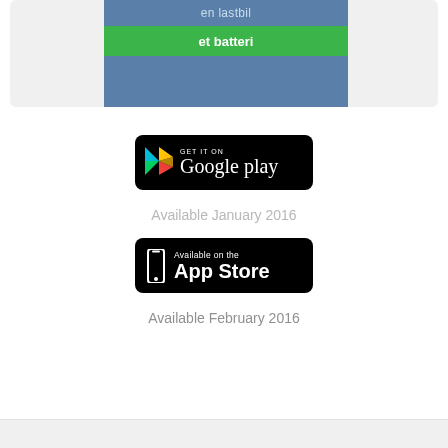[Figure (screenshot): Partial screenshot of a mobile app interface showing Norwegian text 'en lastbil' in blue bar and 'et batteri' in green bar, on a blue background]
[Figure (logo): Google Play badge with 'GET IT ON Google play' text and Play Store triangle logo on black background]
Available January 2016
[Figure (logo): App Store badge with 'Available on the App Store' text and phone icon on black background]
Available February 2016